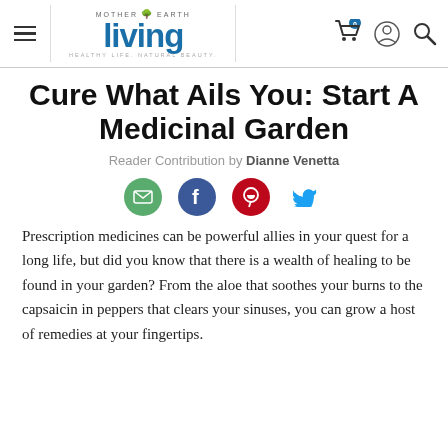Mother Earth Living — navigation bar with logo, cart, account, search icons
Cure What Ails You: Start A Medicinal Garden
Reader Contribution by Dianne Venetta
[Figure (infographic): Social sharing icons: email (green), Facebook (blue), Pinterest (red), Twitter (blue)]
Prescription medicines can be powerful allies in your quest for a long life, but did you know that there is a wealth of healing to be found in your garden? From the aloe that soothes your burns to the capsaicin in peppers that clears your sinuses, you can grow a host of remedies at your fingertips.